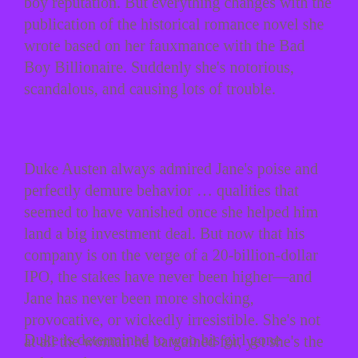boy reputation. But everything changes with the publication of the historical romance novel she wrote based on her fauxmance with the Bad Boy Billionaire. Suddenly she's notorious, scandalous, and causing lots of trouble.
Duke Austen always admired Jane's poise and perfectly demure behavior … qualities that seemed to have vanished once she helped him land a big investment deal. But now that his company is on the verge of a 20-billion-dollar IPO, the stakes have never been higher—and Jane has never been more shocking, provocative, or wickedly irresistible. She's not at all the woman he bargained for, yet she's the only one he wants.
Duke is determined to woo his girl gone